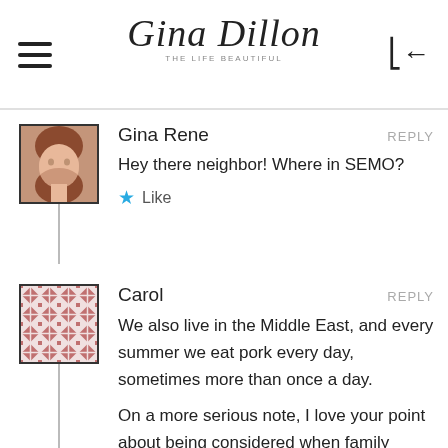Gina Dillon — The Life Beautiful
Gina Rene
Hey there neighbor! Where in SEMO?
REPLY
★ Like
Carol
We also live in the Middle East, and every summer we eat pork every day, sometimes more than once a day.

On a more serious note, I love your point about being considered when family events are planned. I missed my brother's wedding and my niece's wedding because despite my pleading with them to wed during break (I'm a teacher), they had their weddings during the school year
REPLY